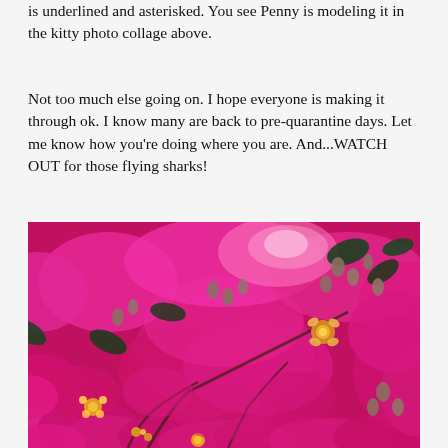is underlined and asterisked. You see Penny is modeling it in the kitty photo collage above.
Not too much else going on. I hope everyone is making it through ok. I know many are back to pre-quarantine days. Let me know how you're doing where you are. And...WATCH OUT for those flying sharks!
[Figure (photo): Close-up photograph of bright pink/magenta crepe myrtle flowers in full bloom, with buds and yellow flower centers visible among the pink blossoms and dark green leaves.]